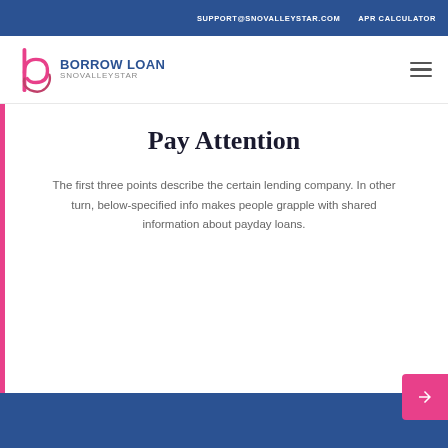SUPPORT@SNOVALLEYSTAR.COM    APR CALCULATOR
[Figure (logo): Borrow Loan Snovalleystar logo with stylized 'b' icon in pink/magenta and blue, with text 'BORROW LOAN' in blue and 'SNOVALLEYSTAR' in gray]
Pay Attention
The first three points describe the certain lending company. In other turn, below-specified info makes people grapple with shared information about payday loans.